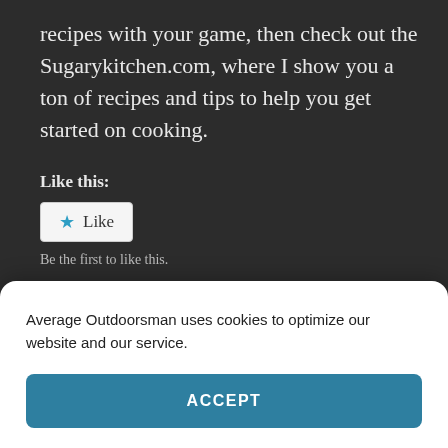recipes with your game, then check out the Sugarykitchen.com, where I show you a ton of recipes and tips to help you get started on cooking.
Like this:
[Figure (other): Like button widget with blue star icon and 'Like' text, followed by 'Be the first to like this.' subtext]
Related
[Figure (photo): Two related article thumbnail images side by side showing food photography]
Average Outdoorsman uses cookies to optimize our website and our service.
ACCEPT